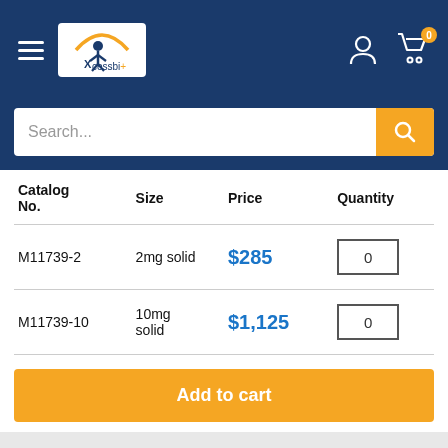[Figure (screenshot): Xcessbi+ e-commerce navigation header with hamburger menu, logo, user icon, and cart icon with badge '0' on dark blue background]
[Figure (screenshot): Search bar with placeholder text 'Search...' and orange search button with magnifying glass icon]
| Catalog No. | Size | Price | Quantity |
| --- | --- | --- | --- |
| M11739-2 | 2mg solid | $285 | 0 |
| M11739-10 | 10mg solid | $1,125 | 0 |
Add to cart
Description